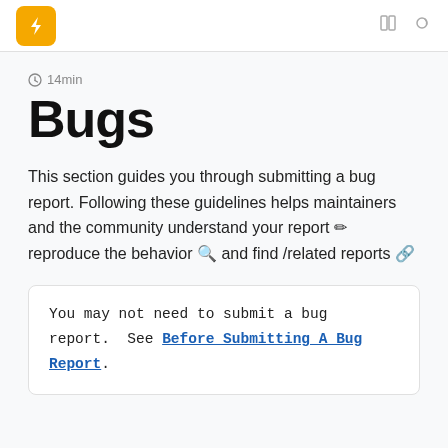Bugs — 14min
14min
Bugs
This section guides you through submitting a bug report. Following these guidelines helps maintainers and the community understand your report ✏ reproduce the behavior 🔍 and find /related reports 🔗
You may not need to submit a bug report.  See Before Submitting A Bug Report.